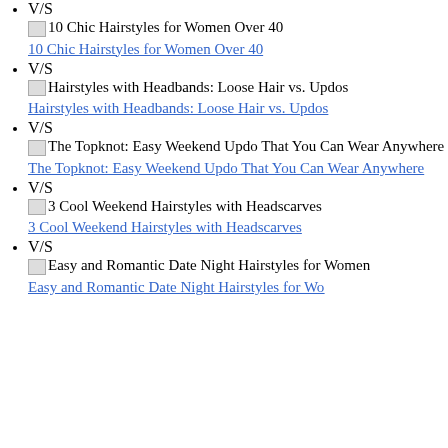V/S
10 Chic Hairstyles for Women Over 40
10 Chic Hairstyles for Women Over 40
V/S
Hairstyles with Headbands: Loose Hair vs. Updos
Hairstyles with Headbands: Loose Hair vs. Updos
V/S
The Topknot: Easy Weekend Updo That You Can Wear Anywhere
The Topknot: Easy Weekend Updo That You Can Wear Anywhere
V/S
3 Cool Weekend Hairstyles with Headscarves
3 Cool Weekend Hairstyles with Headscarves
V/S
Easy and Romantic Date Night Hairstyles for Women
Easy and Romantic Date Night Hairstyles for Women